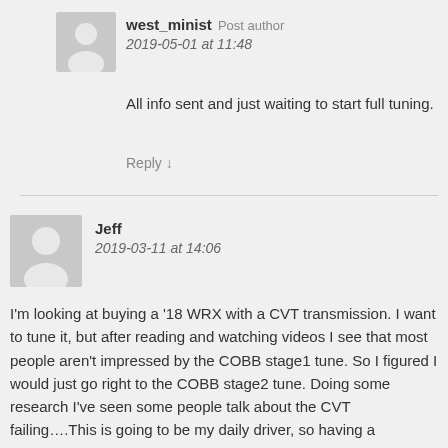west_minist Post author
2019-05-01 at 11:48
All info sent and just waiting to start full tuning.
Reply ↓
Jeff
2019-03-11 at 14:06
I'm looking at buying a '18 WRX with a CVT transmission. I want to tune it, but after reading and watching videos I see that most people aren't impressed by the COBB stage1 tune. So I figured I would just go right to the COBB stage2 tune. Doing some research I've seen some people talk about the CVT failing….This is going to be my daily driver, so having a transmission go out on me isn't really an option. Is there anything I can do to mitigate that, should I just be better on the gas during aggressive...